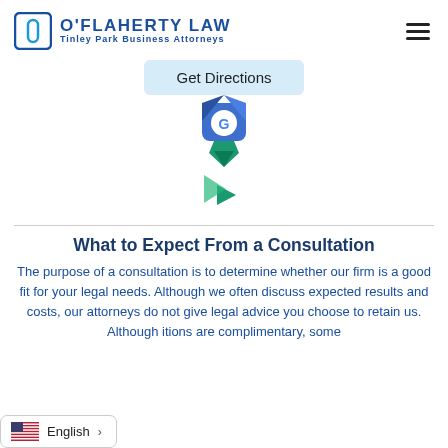O'Flaherty Law — Tinley Park Business Attorneys
[Figure (other): Google Maps 'Get Directions' button with Google Maps / Google Business Profile icon below it]
What to Expect From a Consultation
The purpose of a consultation is to determine whether our firm is a good fit for your legal needs. Although we often discuss expected results and costs, our attorneys do not give legal advice ... you choose to retain us. Although ... itions are complimentary, some